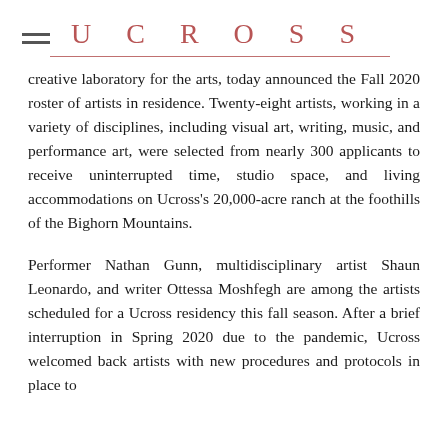UCROSS
creative laboratory for the arts, today announced the Fall 2020 roster of artists in residence. Twenty-eight artists, working in a variety of disciplines, including visual art, writing, music, and performance art, were selected from nearly 300 applicants to receive uninterrupted time, studio space, and living accommodations on Ucross's 20,000-acre ranch at the foothills of the Bighorn Mountains.
Performer Nathan Gunn, multidisciplinary artist Shaun Leonardo, and writer Ottessa Moshfegh are among the artists scheduled for a Ucross residency this fall season. After a brief interruption in Spring 2020 due to the pandemic, Ucross welcomed back artists with new procedures and protocols in place to